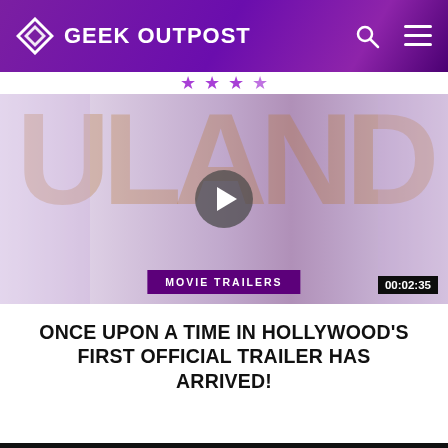GEEK OUTPOST
[Figure (screenshot): Video thumbnail for Once Upon a Time in Hollywood trailer with play button, MOVIE TRAILERS tag, and 00:02:35 duration]
MOVIE TRAILERS
ONCE UPON A TIME IN HOLLYWOOD'S FIRST OFFICIAL TRAILER HAS ARRIVED!
GEEK OUTPOST footer with dark/light mode toggle